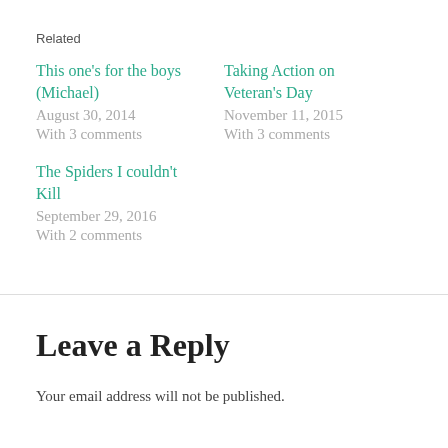Related
This one's for the boys (Michael)
August 30, 2014
With 3 comments
Taking Action on Veteran's Day
November 11, 2015
With 3 comments
The Spiders I couldn't Kill
September 29, 2016
With 2 comments
Leave a Reply
Your email address will not be published.